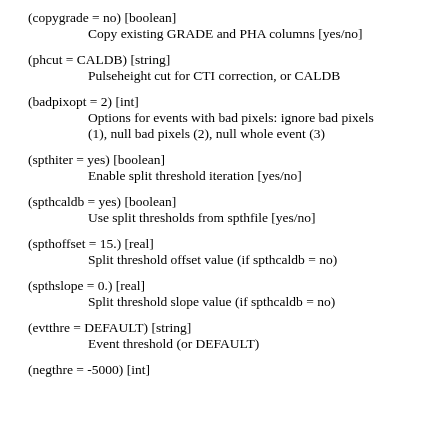(copygrade = no) [boolean]
    Copy existing GRADE and PHA columns [yes/no]
(phcut = CALDB) [string]
    Pulseheight cut for CTI correction, or CALDB
(badpixopt = 2) [int]
    Options for events with bad pixels: ignore bad pixels (1), null bad pixels (2), null whole event (3)
(spthiter = yes) [boolean]
    Enable split threshold iteration [yes/no]
(spthcaldb = yes) [boolean]
    Use split thresholds from spthfile [yes/no]
(spthoffset = 15.) [real]
    Split threshold offset value (if spthcaldb = no)
(spthslope = 0.) [real]
    Split threshold slope value (if spthcaldb = no)
(evtthre = DEFAULT) [string]
    Event threshold (or DEFAULT)
(negthre = -5000) [int]